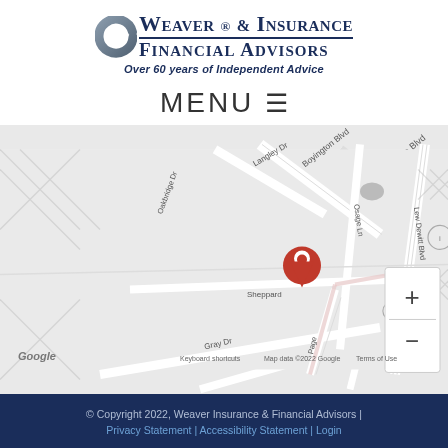[Figure (logo): Weaver Insurance & Financial Advisors logo with crescent arc graphic and tagline 'Over 60 years of Independent Advice']
MENU ☰
[Figure (map): Google Maps screenshot showing intersection area with Boyington Blvd, Langley Dr, Oakbridge Dr, Sheppard, Osage Ln, Lew Dewitt Blvd, Gray Dr, Page, route 1022, with red location pin marker, zoom controls (+/-), and map attribution 'Keyboard shortcuts | Map data ©2022 Google | Terms of Use']
© Copyright 2022, Weaver Insurance & Financial Advisors | Privacy Statement | Accessibility Statement | Login